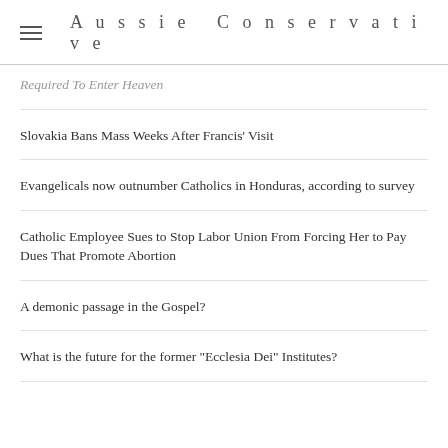Aussie Conservative
Required To Enter Heaven
Slovakia Bans Mass Weeks After Francis' Visit
Evangelicals now outnumber Catholics in Honduras, according to survey
Catholic Employee Sues to Stop Labor Union From Forcing Her to Pay Dues That Promote Abortion
A demonic passage in the Gospel?
What is the future for the former "Ecclesia Dei" Institutes?